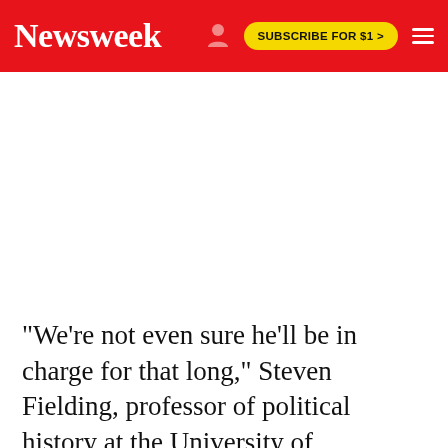Newsweek | SUBSCRIBE FOR $1 >
"We're not even sure he'll be in charge for that long," Steven Fielding, professor of political history at the University of Nottingham, tells Newsweek.